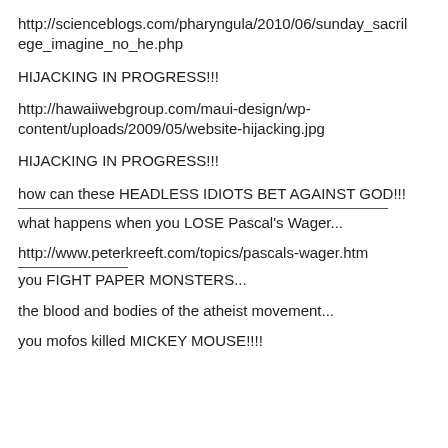http://scienceblogs.com/pharyngula/2010/06/sunday_sacrilege_imagine_no_he.php
HIJACKING IN PROGRESS!!!
http://hawaiiwebgroup.com/maui-design/wp-content/uploads/2009/05/website-hijacking.jpg
HIJACKING IN PROGRESS!!!
how can these HEADLESS IDIOTS BET AGAINST GOD!!!
what happens when you LOSE Pascal's Wager...
http://www.peterkreeft.com/topics/pascals-wager.htm
you FIGHT PAPER MONSTERS...
the blood and bodies of the atheist movement...
you mofos killed MICKEY MOUSE!!!!